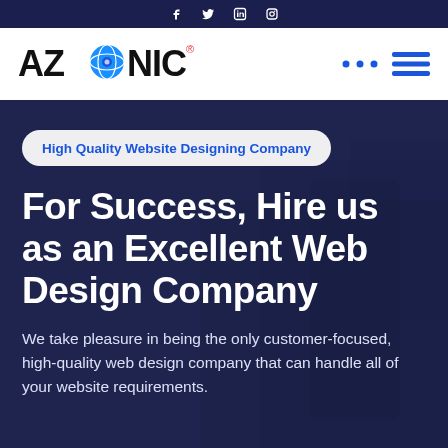Social media icons: Facebook, Twitter, LinkedIn, Instagram
[Figure (logo): AZONIC company logo with stylized blue globe in place of the letter O, with registered trademark symbol]
High Quality Website Designing Company
For Success, Hire us as an Excellent Web Design Company
We take pleasure in being the only customer-focused, high-quality web design company that can handle all of your website requirements.